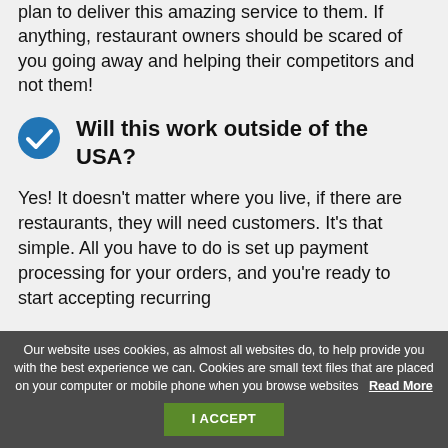plan to deliver this amazing service to them. If anything, restaurant owners should be scared of you going away and helping their competitors and not them!
Will this work outside of the USA?
Yes! It doesn't matter where you live, if there are restaurants, they will need customers. It's that simple. All you have to do is set up payment processing for your orders, and you're ready to start accepting recurring
Our website uses cookies, as almost all websites do, to help provide you with the best experience we can. Cookies are small text files that are placed on your computer or mobile phone when you browse websites  Read More  I ACCEPT